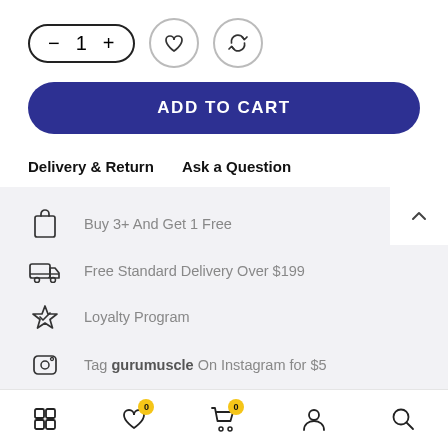[Figure (screenshot): Quantity selector pill with minus, 1, plus buttons and heart and refresh icon circles]
[Figure (screenshot): Add to Cart button, dark blue pill-shaped button]
Delivery & Return    Ask a Question
Buy 3+ And Get 1 Free
Free Standard Delivery Over $199
Loyalty Program
Tag gurumuscle On Instagram for $5
Bottom navigation bar with grid, heart (0), cart (0), person, search icons